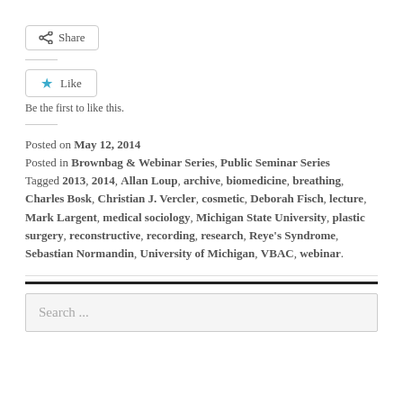[Figure (other): Share button with share icon]
[Figure (other): Like button with star icon]
Be the first to like this.
Posted on May 12, 2014
Posted in Brownbag & Webinar Series, Public Seminar Series
Tagged 2013, 2014, Allan Loup, archive, biomedicine, breathing, Charles Bosk, Christian J. Vercler, cosmetic, Deborah Fisch, lecture, Mark Largent, medical sociology, Michigan State University, plastic surgery, reconstructive, recording, research, Reye's Syndrome, Sebastian Normandin, University of Michigan, VBAC, webinar.
[Figure (other): Search input box with placeholder 'Search ...']